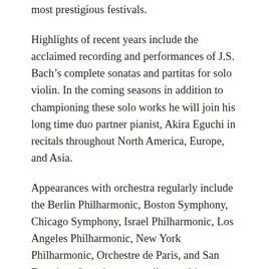most prestigious festivals.
Highlights of recent years include the acclaimed recording and performances of J.S. Bach’s complete sonatas and partitas for solo violin. In the coming seasons in addition to championing these solo works he will join his long time duo partner pianist, Akira Eguchi in recitals throughout North America, Europe, and Asia.
Appearances with orchestra regularly include the Berlin Philharmonic, Boston Symphony, Chicago Symphony, Israel Philharmonic, Los Angeles Philharmonic, New York Philharmonic, Orchestre de Paris, and San Francisco Symphony as well as multi-year residencies with the Orchestras of Montreal, Stuttgart and Singapore. With orchestra, Mr. Shaham continues his exploration of “Violin Concertos of the 1930s,” including the works of